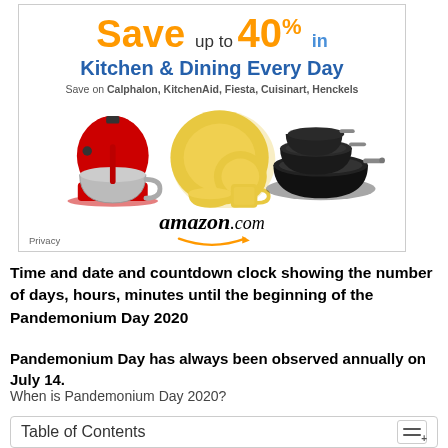[Figure (illustration): Amazon.com advertisement for Kitchen & Dining savings. Shows 'Save up to 40% in Kitchen & Dining Every Day' headline with brands Calphalon, KitchenAid, Fiesta, Cuisinart, Henckels. Product images include a red KitchenAid stand mixer, yellow Fiesta dinnerware set, and black Calphalon cookware pans. Amazon.com logo with arrow at bottom. Privacy link in lower left.]
Time and date and countdown clock showing the number of days, hours, minutes until the beginning of the Pandemonium Day 2020
Pandemonium Day has always been observed annually on July 14.
When is Pandemonium Day 2020?
Table of Contents